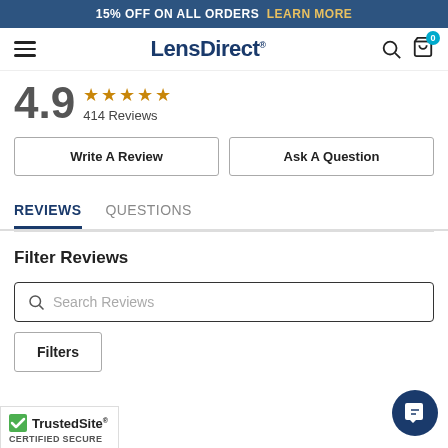15% OFF ON ALL ORDERS  LEARN MORE
LensDirect
4.9  ★★★★★  414 Reviews
Write A Review
Ask A Question
REVIEWS  QUESTIONS
Filter Reviews
Search Reviews
Filters
[Figure (logo): TrustedSite CERTIFIED SECURE badge with green checkmark]